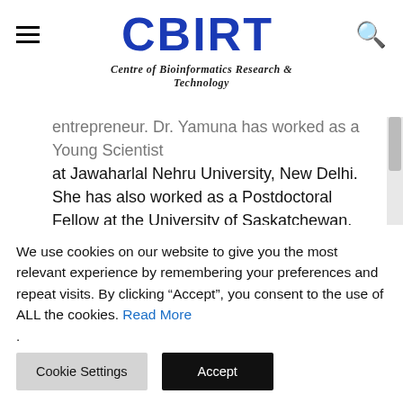CBIRT — Centre of Bioinformatics Research & Technology
entrepreneur. Dr. Yamuna has worked as a Young Scientist at Jawaharlal Nehru University, New Delhi. She has also worked as a Postdoctoral Fellow at the University of Saskatchewan, Canada. She has several scientific research publications in high-impact research journals. Her latest endeavor is the development of a platform that acts as a one-stop solution for all bioinformatics related information as well as developing a bioinformatics news portal to report
We use cookies on our website to give you the most relevant experience by remembering your preferences and repeat visits. By clicking "Accept", you consent to the use of ALL the cookies. Read More
.
Cookie Settings   Accept